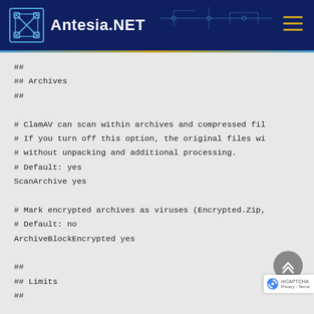Antesia.NET
##
## Archives
##

# ClamAV can scan within archives and compressed fil
# If you turn off this option, the original files wi
# without unpacking and additional processing.
# Default: yes
ScanArchive yes

# Mark encrypted archives as viruses (Encrypted.Zip,
# Default: no
ArchiveBlockEncrypted yes

##
## Limits
##

# The options below protect your system again
# using archive bombs